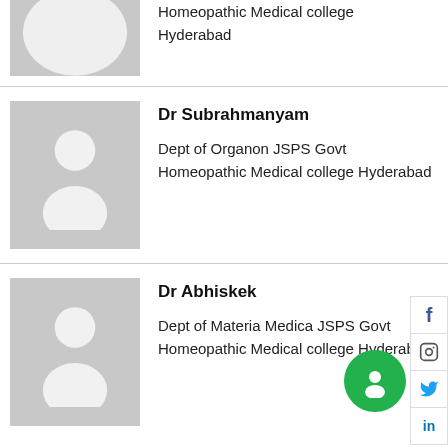[Figure (photo): Partial placeholder avatar image for first person entry, cropped at top]
Homeopathic Medical college Hyderabad
[Figure (photo): Placeholder avatar silhouette image for Dr Subrahmanyam]
Dr Subrahmanyam
Dept of Organon JSPS Govt Homeopathic Medical college Hyderabad
[Figure (photo): Placeholder avatar silhouette image for Dr Abhiskek]
Dr Abhiskek
Dept of Materia Medica JSPS Govt Homeopathic Medical college Hyderabad